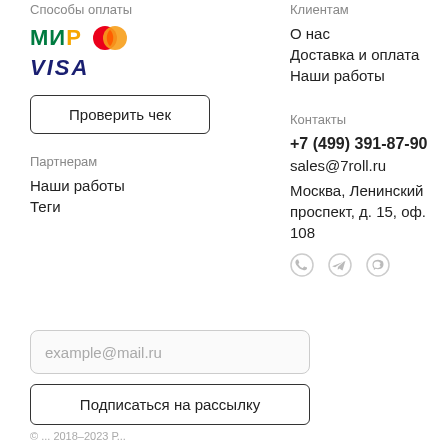Способы оплаты
[Figure (logo): Payment logos: МИР, Mastercard, VISA]
Проверить чек
Клиентам
О нас
Доставка и оплата
Наши работы
Партнерам
Наши работы
Теги
Контакты
+7 (499) 391-87-90
sales@7roll.ru
Москва, Ленинский проспект, д. 15, оф. 108
[Figure (illustration): Social media icons: WhatsApp, Telegram, Viber]
example@mail.ru
Подписаться на рассылку